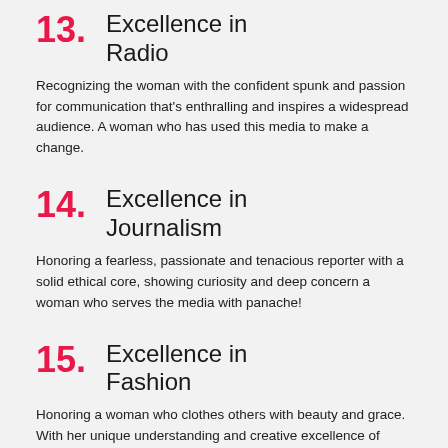13. Excellence in Radio
Recognizing the woman with the confident spunk and passion for communication that's enthralling and inspires a widespread audience. A woman who has used this media to make a change.
14. Excellence in Journalism
Honoring a fearless, passionate and tenacious reporter with a solid ethical core, showing curiosity and deep concern a woman who serves the media with panache!
15. Excellence in Fashion
Honoring a woman who clothes others with beauty and grace. With her unique understanding and creative excellence of trends and garments has turned heads in the fashion industry.